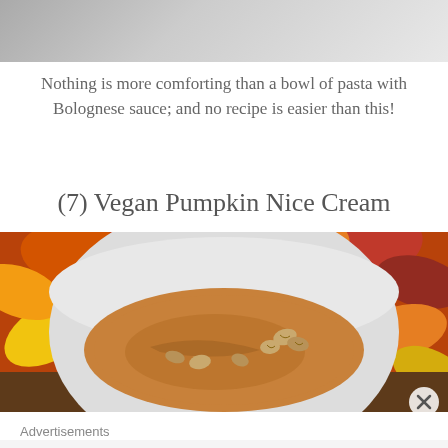[Figure (photo): Top portion of a bowl of pasta visible at top of page, light gray/white background]
Nothing is more comforting than a bowl of pasta with Bolognese sauce; and no recipe is easier than this!
(7) Vegan Pumpkin Nice Cream
[Figure (photo): Overhead view of a white bowl containing pumpkin nice cream topped with chopped walnuts and cinnamon, surrounded by colorful autumn leaves in red, orange, yellow and green]
Advertisements